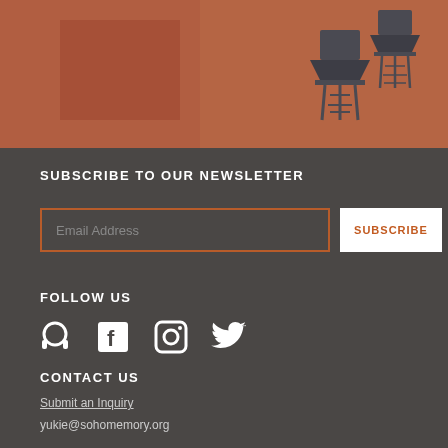[Figure (photo): Faded vintage photograph showing people and NYC water towers with reddish-brown tones]
SUBSCRIBE TO OUR NEWSLETTER
Email Address
SUBSCRIBE
FOLLOW US
[Figure (infographic): Social media icons: podcast/headphone, Facebook, Instagram, Twitter]
CONTACT US
Submit an Inquiry
yukie@sohomemory.org